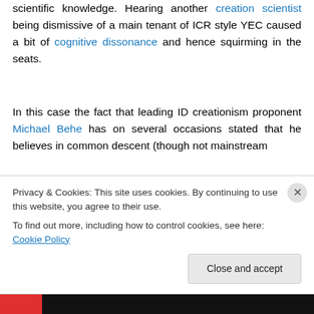scientific knowledge. Hearing another creation scientist being dismissive of a main tenant of ICR style YEC caused a bit of cognitive dissonance and hence squirming in the seats.
In this case the fact that leading ID creationism proponent Michael Behe has on several occasions stated that he believes in common descent (though not mainstream
Privacy & Cookies: This site uses cookies. By continuing to use this website, you agree to their use. To find out more, including how to control cookies, see here: Cookie Policy
Close and accept